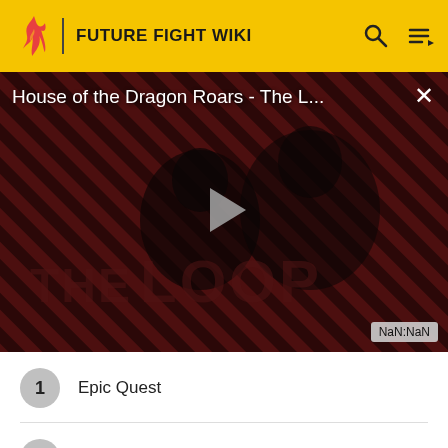FUTURE FIGHT WIKI
[Figure (screenshot): Video player showing 'House of the Dragon Roars - The L...' with a play button overlay, striped dark red background, silhouette of a person, THE LOOP logo, close button X, and NaN:NaN timer badge]
1 Epic Quest
2 Ms. Marvel (Kamala Khan)